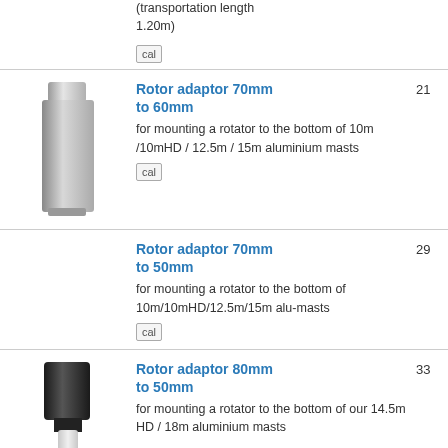(transportation length 1.20m)
cal
[Figure (photo): Silver cylindrical rotor adaptor 70mm to 60mm]
Rotor adaptor 70mm to 60mm
21
for mounting a rotator to the bottom of 10m /10mHD / 12.5m / 15m aluminium masts
cal
Rotor adaptor 70mm to 50mm
29
for mounting a rotator to the bottom of 10m/10mHD/12.5m/15m alu-masts
cal
[Figure (photo): Black cylindrical rotor adaptor 80mm to 50mm with white lower section]
Rotor adaptor 80mm to 50mm
33
for mounting a rotator to the bottom of our 14.5m HD / 18m aluminium masts